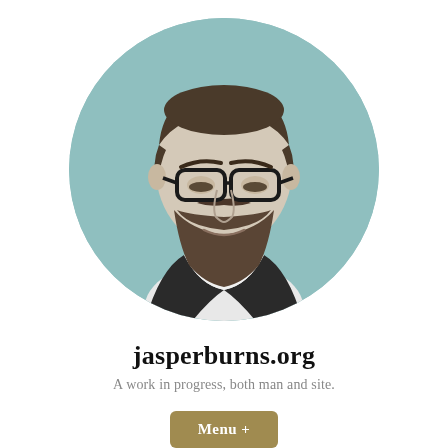[Figure (photo): Circular profile photo of a bearded man with glasses wearing a dark blazer and white shirt, set against a teal/muted green background.]
jasperburns.org
A work in progress, both man and site.
Menu +